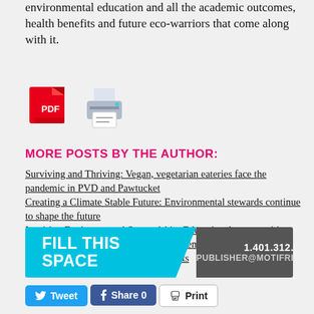environmental education and all the academic outcomes, health benefits and future eco-warriors that come along with it.
[Figure (other): PDF download icon and printer icon]
MORE POSTS BY THE AUTHOR:
Surviving and Thriving: Vegan, vegetarian eateries face the pandemic in PVD and Pawtucket
Creating a Climate Stable Future: Environmental stewards continue to shape the future
Inspiring Environmental Stewardship: Educational opportunities make kids aware of the world around them
A New Generation of Environmentalists
[Figure (infographic): Advertisement banner: FILL THIS SPACE, 1.401.312.3305, PUBLISHER@MOTIFRI.COM]
Tweet  Share 0  Print